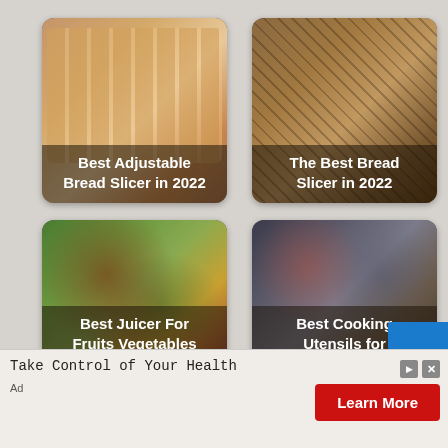[Figure (photo): Grid of food/kitchen product cards with photo thumbnails and white text labels. Top-left: sliced white bread with label 'Best Adjustable Bread Slicer in 2022'. Top-right: sliced brown bread on cutting board with label 'The Best Bread Slicer in 2022'. Middle-left: fruits and vegetables with label 'Best Juicer For Fruits Vegetables And Leafy Greens in 2022'. Middle-right: stainless steel cooking utensils/pots with label 'Best Cooking Utensils for Stainless Steel Cookware in 2022'. Bottom-left partial: dark cutting/knife image. Bottom-right partial: kitchen scene.]
Take Control of Your Health
Learn More
Ad